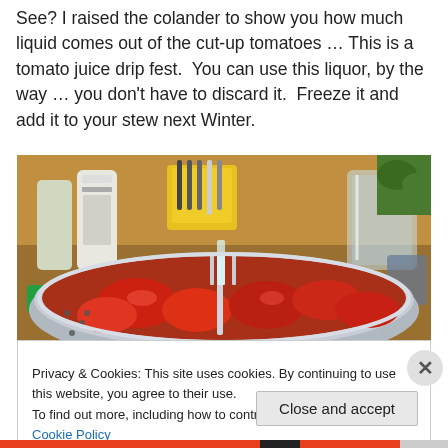See? I raised the colander to show you how much liquid comes out of the cut-up tomatoes … This is a tomato juice drip fest.  You can use this liquor, by the way … you don't have to discard it.  Freeze it and add it to your stew next Winter.
[Figure (photo): A colander/strainer filled with cut-up red tomatoes and a fork, resting in a kitchen sink area with various kitchen items in the background including a yellow utensil holder, bottles, and glass jars. Tomato juice is visible dripping through the colander.]
Privacy & Cookies: This site uses cookies. By continuing to use this website, you agree to their use.
To find out more, including how to control cookies, see here: Cookie Policy